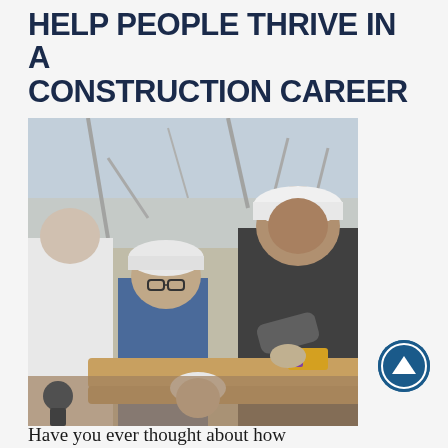HELP PEOPLE THRIVE IN A CONSTRUCTION CAREER
[Figure (photo): Workers in hard hats at a construction site. A woman in a white hard hat and glasses (blue shirt) and a man in a dark jacket are working with wooden lumber. Another worker in a white hard hat is visible in the background. The scene is outdoors with bare trees visible.]
Have you ever thought about how